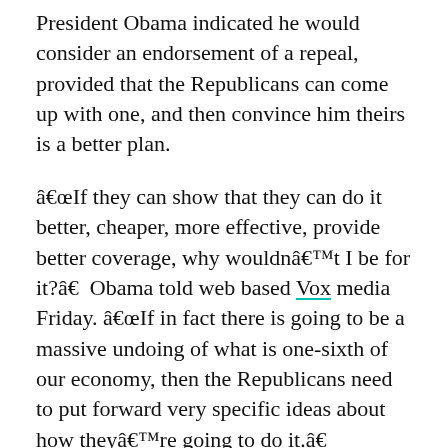President Obama indicated he would consider an endorsement of a repeal, provided that the Republicans can come up with one, and then convince him theirs is a better plan.
â€œIf they can show that they can do it better, cheaper, more effective, provide better coverage, why wouldnâ€™t I be for it?â€ Obama told web based Vox media Friday. â€œIf in fact there is going to be a massive undoing of what is one-sixth of our economy, then the Republicans need to put forward very specific ideas about how theyâ€™re going to do it.â€
The President also urged debate comparing any Republican replacement to the current law.
â€œI am saying to every Republican right now, if you